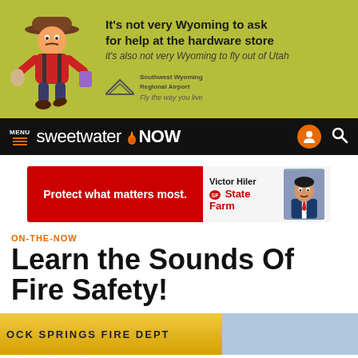[Figure (illustration): Advertisement for Southwest Wyoming Regional Airport featuring a cartoon cowboy with text: It's not very Wyoming to ask for help at the hardware store / it's also not very Wyoming to fly out of Utah. Southwest Wyoming Regional Airport. Fly the way you live.]
MENU sweetwaterNOW
[Figure (illustration): State Farm advertisement: Protect what matters most. Victor Hiler State Farm agent photo and branding.]
ON-THE-NOW
Learn the Sounds Of Fire Safety!
[Figure (photo): Bottom strip showing partial Rock Springs Fire Department sign and emergency vehicle.]